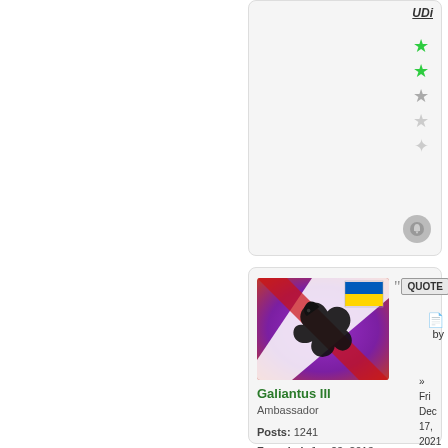[Figure (screenshot): Top partial forum user card showing username 'UDI' with star rating (3 filled, 1 half, 1 empty) and notification bell icon]
[Figure (screenshot): Forum post card for user Galiantus III showing avatar image with dragon silhouette on purple/red background with Ukrainian flag, user info, and quote button. Post dated Fri Dec 17, 2021 10:39 am. Posts: 1241, Founded: Jan 23, 2013, Inoffensive Centrist Democracy]
Galiantus III
Ambassador
Posts: 1241
Founded: Jan 23, 2013
Inoffensive Centrist Democracy
by Galiantus III
» Fri Dec 17, 2021 10:39 am